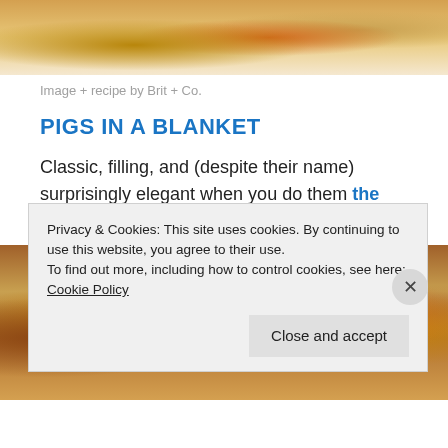[Figure (photo): Top portion of a food photo showing sandwiches or sliders on a white plate, partially cropped]
Image + recipe by Brit + Co.
PIGS IN A BLANKET
Classic, filling, and (despite their name) surprisingly elegant when you do them the Martha Stewart way…
[Figure (photo): Close-up photo of pigs in a blanket — sausages wrapped in golden-brown pastry dough topped with poppy seeds]
Privacy & Cookies: This site uses cookies. By continuing to use this website, you agree to their use.
To find out more, including how to control cookies, see here: Cookie Policy